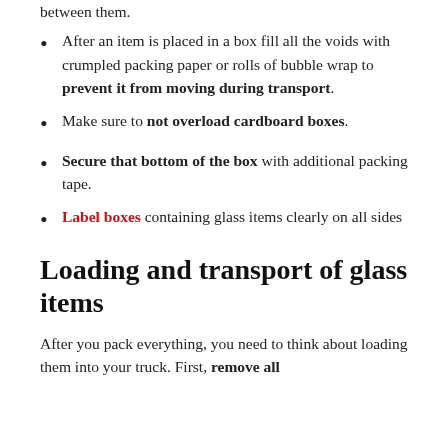between them.
After an item is placed in a box fill all the voids with crumpled packing paper or rolls of bubble wrap to prevent it from moving during transport.
Make sure to not overload cardboard boxes.
Secure that bottom of the box with additional packing tape.
Label boxes containing glass items clearly on all sides
Loading and transport of glass items
After you pack everything, you need to think about loading them into your truck. First, remove all